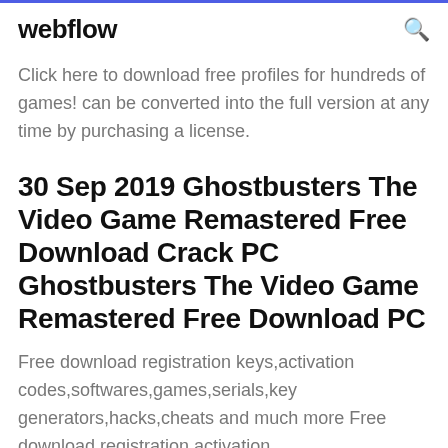webflow
Click here to download free profiles for hundreds of games! can be converted into the full version at any time by purchasing a license.
30 Sep 2019 Ghostbusters The Video Game Remastered Free Download Crack PC Ghostbusters The Video Game Remastered Free Download PC
Free download registration keys,activation codes,softwares,games,serials,key generators,hacks,cheats and much more Free download registration activation...